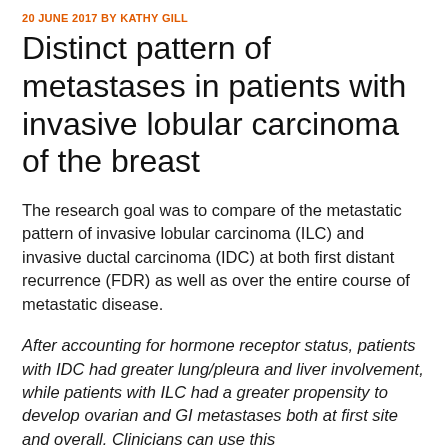20 JUNE 2017 BY KATHY GILL
Distinct pattern of metastases in patients with invasive lobular carcinoma of the breast
The research goal was to compare of the metastatic pattern of invasive lobular carcinoma (ILC) and invasive ductal carcinoma (IDC) at both first distant recurrence (FDR) as well as over the entire course of metastatic disease.
After accounting for hormone receptor status, patients with IDC had greater lung/pleura and liver involvement, while patients with ILC had a greater propensity to develop ovarian and GI metastases both at first site and overall. Clinicians can use this